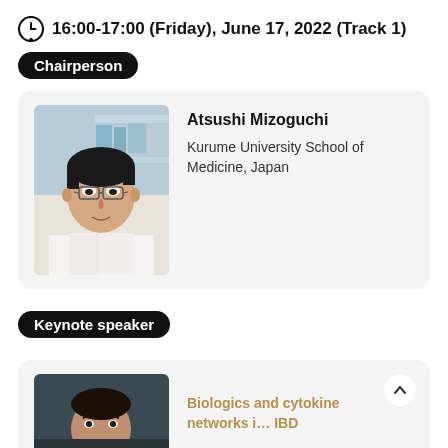16:00-17:00 (Friday), June 17, 2022 (Track 1)
Chairperson
[Figure (photo): Portrait photo of Atsushi Mizoguchi in a white lab coat, middle-aged Asian man with glasses, laboratory background]
Atsushi Mizoguchi
Kurume University School of Medicine, Japan
Keynote speaker
[Figure (photo): Portrait photo of keynote speaker, partially visible, dark background]
Biologics and cytokine networks in IBD